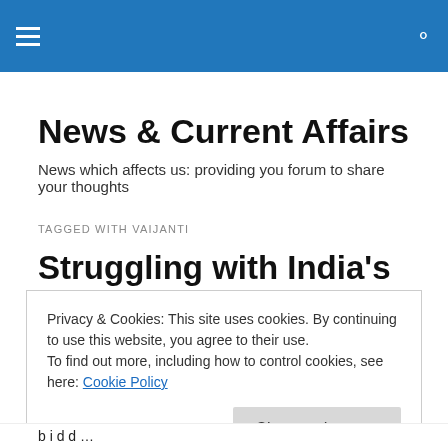News & Current Affairs [navigation bar with hamburger menu and search icon]
News & Current Affairs
News which affects us: providing you forum to share your thoughts
TAGGED WITH VAIJANTI
Struggling with India's gender bias
Privacy & Cookies: This site uses cookies. By continuing to use this website, you agree to their use.
To find out more, including how to control cookies, see here: Cookie Policy
[Close and accept button]
...